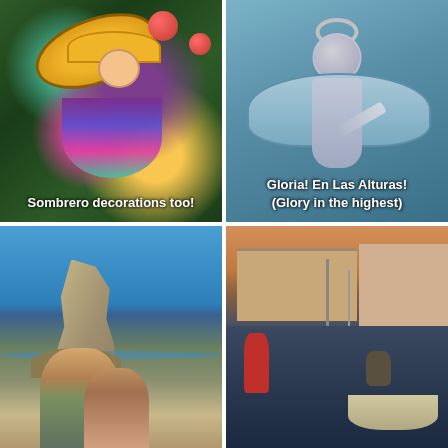[Figure (photo): A colorful Mexican doll ornament in traditional dress with a sombrero hat, hanging on a Christmas tree with red ornaments and green branches]
Sombrero decorations too!
[Figure (photo): A silver metallic angel ornament/decoration against a blue background, holding a trumpet]
Gloria! En Las Alturas!
(Glory in the highest)
[Figure (photo): Two people posing for a selfie on a beach with a large rock formation behind them and blue sky]
[Figure (photo): A harbor scene at sunset/dusk with boats, masts, buildings in background, and pelicans on a small boat in the foreground]